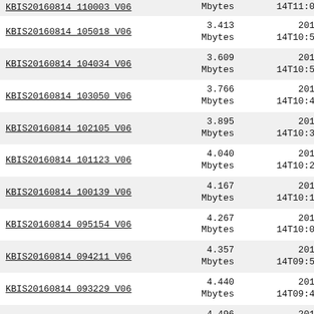| Name | Size | Date |
| --- | --- | --- |
| KBIS20160814_110003_V06 | Mbytes | 14T11:09:41Z |
| KBIS20160814_105018_V06 | 3.413
Mbytes | 2016-08-
14T10:59:55Z |
| KBIS20160814_104034_V06 | 3.609
Mbytes | 2016-08-
14T10:50:12Z |
| KBIS20160814_103050_V06 | 3.766
Mbytes | 2016-08-
14T10:40:28Z |
| KBIS20160814_102105_V06 | 3.895
Mbytes | 2016-08-
14T10:30:44Z |
| KBIS20160814_101123_V06 | 4.040
Mbytes | 2016-08-
14T10:21:00Z |
| KBIS20160814_100139_V06 | 4.167
Mbytes | 2016-08-
14T10:11:17Z |
| KBIS20160814_095154_V06 | 4.267
Mbytes | 2016-08-
14T10:01:32Z |
| KBIS20160814_094211_V06 | 4.357
Mbytes | 2016-08-
14T09:51:49Z |
| KBIS20160814_093229_V06 | 4.440
Mbytes | 2016-08-
14T09:42:06Z |
| KBIS20160814_092246_V06 | 4.496
Mbytes | 2016-08-
14T09:32:23Z |
| KBIS20160814_091302_V06 | 4.549
Mbytes | 2016-08-
14T09:22:40Z |